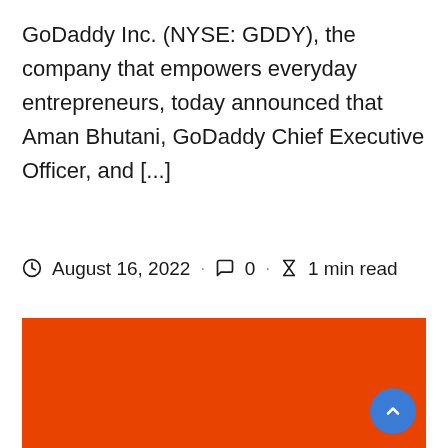GoDaddy Inc. (NYSE: GDDY), the company that empowers everyday entrepreneurs, today announced that Aman Bhutani, GoDaddy Chief Executive Officer, and [...]
August 16, 2022 · 0 · 1 min read
[Figure (other): Orange/red rectangular image block, likely a GoDaddy branded image or thumbnail, with a blue scroll-to-top button in the bottom right corner.]